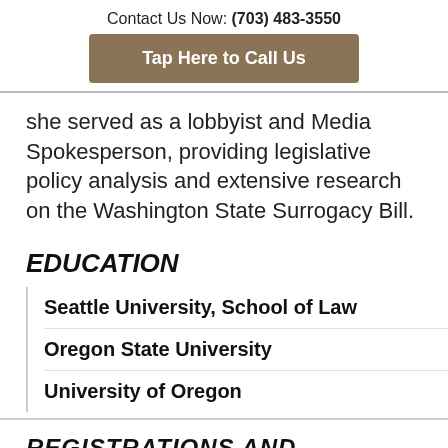Contact Us Now: (703) 483-3550
Tap Here to Call Us
she served as a lobbyist and Media Spokesperson, providing legislative policy analysis and extensive research on the Washington State Surrogacy Bill.
EDUCATION
Seattle University, School of Law
Oregon State University
University of Oregon
REGISTRATIONS AND ADMISSIONS